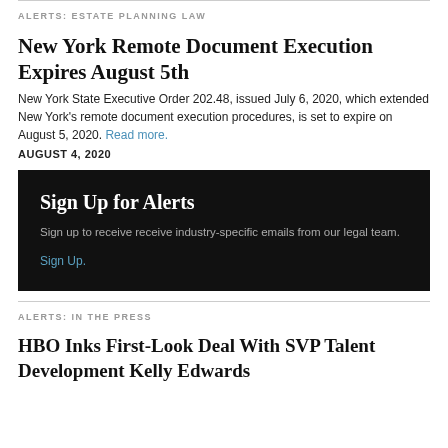ALERTS: ESTATE PLANNING LAW
New York Remote Document Execution Expires August 5th
New York State Executive Order 202.48, issued July 6, 2020, which extended New York's remote document execution procedures, is set to expire on August 5, 2020. Read more.
AUGUST 4, 2020
[Figure (infographic): Dark black box with heading 'Sign Up for Alerts', subtext 'Sign up to receive receive industry-specific emails from our legal team.' and a link 'Sign Up.']
ALERTS: IN THE PRESS
HBO Inks First-Look Deal With SVP Talent Development Kelly Edwards